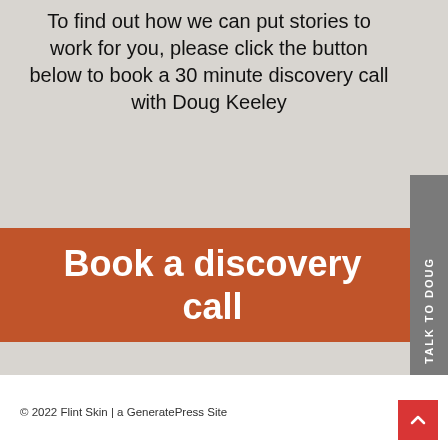To find out how we can put stories to work for you, please click the button below to book a 30 minute discovery call with Doug Keeley
[Figure (other): Orange button with bold white text reading 'Book a discovery call']
TALK TO DOUG
© 2022 Flint Skin | a GeneratePress Site